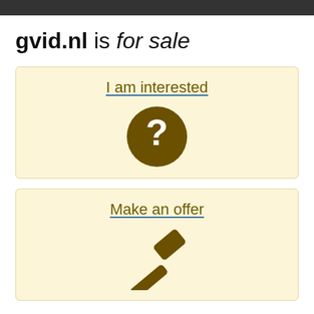gvid.nl is for sale
[Figure (illustration): Beige card with 'I am interested' link text underlined in blue and a dark brown circle with white question mark icon below]
[Figure (illustration): Beige card with 'Make an offer' link text underlined in blue and a dark brown gavel/hammer icon below]